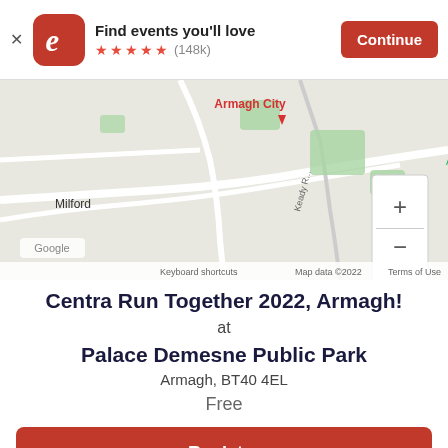[Figure (screenshot): Eventbrite app banner with logo, 'Find events you'll love', 5 stars (148k reviews), and Continue button]
[Figure (map): Google Maps showing Armagh area with location pin at Armagh city football club, holm park. Shows Milford and Armagh City labels, zoom controls, and map attribution.]
Centra Run Together 2022, Armagh!
at
Palace Demesne Public Park
Armagh, BT40 4EL
Free
Register